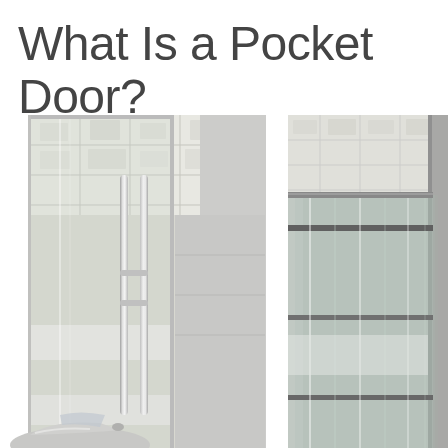What Is a Pocket Door?
[Figure (photo): Two side-by-side photos of glass pocket doors. Left photo shows a frameless glass sliding door in open position with stainless steel bar handles, with a car visible at the bottom. Right photo shows the same or similar door partially slid into the wall pocket, demonstrating the pocket door mechanism with glass panels sliding behind a wall partition.]